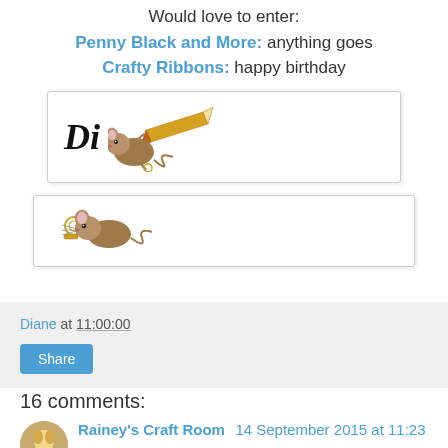Would love to enter:
Penny Black and More: anything goes
Crafty Ribbons: happy birthday
[Figure (illustration): Signature box with italic bold 'Di' text and a cartoon mouse holding a pencil illustration]
[Figure (illustration): A small cartoon mouse with keys illustration in a bordered box]
Diane at 11:00:00
Share
16 comments:
Rainey's Craft Room  14 September 2015 at 11:23